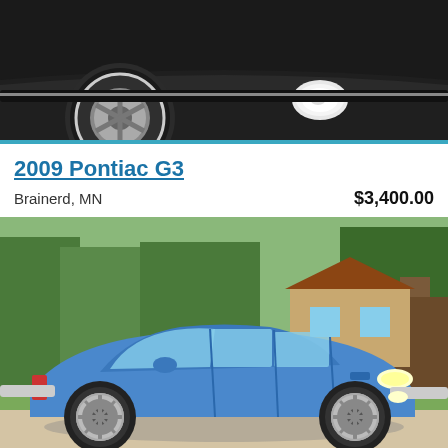[Figure (photo): Close-up photo of the front bumper area of a black car showing a wheel with chrome hubcap and fog light, on dark pavement]
2009 Pontiac G3
Brainerd, MN
$3,400.00
[Figure (photo): Photo of a blue 2009 Pontiac G3 hatchback parked on a driveway with trees and a house in the background]